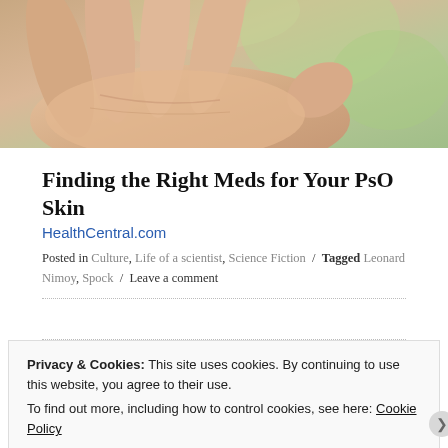[Figure (photo): Close-up photo of a human hand/palm with a green blurred background, suggesting a medical/skin condition article image]
Finding the Right Meds for Your PsO Skin
HealthCentral.com
Posted in Culture, Life of a scientist, Science Fiction / Tagged Leonard Nimoy, Spock / Leave a comment
Privacy & Cookies: This site uses cookies. By continuing to use this website, you agree to their use.
To find out more, including how to control cookies, see here: Cookie Policy
Close and accept